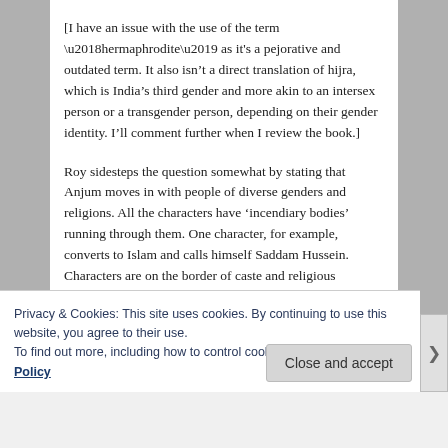[I have an issue with the use of the term ‘hermaphrodite’ as it's a pejorative and outdated term. It also isn’t a direct translation of hijra, which is India’s third gender and more akin to an intersex person or a transgender person, depending on their gender identity. I’ll comment further when I review the book.]
Roy sidesteps the question somewhat by stating that Anjum moves in with people of diverse genders and religions. All the characters have ‘incendiary bodies’ running through them. One character, for example, converts to Islam and calls himself Saddam Hussein. Characters are on the border of caste and religious conversion. There’s a fine mesh of divisions designed to
Privacy & Cookies: This site uses cookies. By continuing to use this website, you agree to their use.
To find out more, including how to control cookies, see here: Cookie Policy